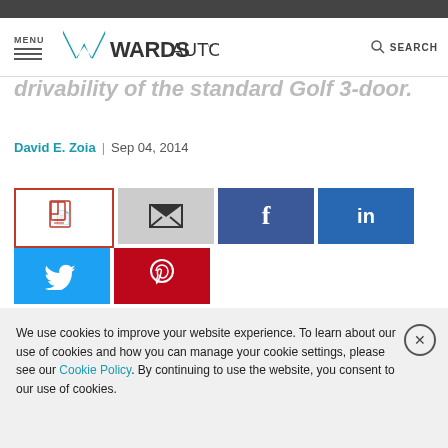[Figure (screenshot): WardsAuto website navigation bar with logo, menu hamburger, and search]
drivability of the standard Golf 3-door.
David E. Zoia | Sep 04, 2014
[Figure (infographic): Social share buttons: PDF, Email, Facebook, LinkedIn, Twitter, Pinterest]
MIDDLEBURG, VA – Credit Volkswagen's flexible MQB
We use cookies to improve your website experience. To learn about our use of cookies and how you can manage your cookie settings, please see our Cookie Policy. By continuing to use the website, you consent to our use of cookies.